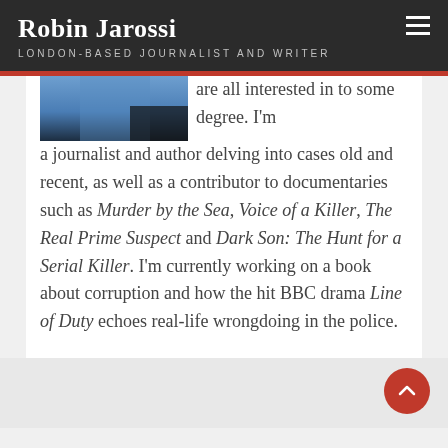Robin Jarossi
LONDON-BASED JOURNALIST AND WRITER
[Figure (photo): Partial photo of a person wearing a blue shirt, cropped at the top]
are all interested in to some degree. I'm a journalist and author delving into cases old and recent, as well as a contributor to documentaries such as Murder by the Sea, Voice of a Killer, The Real Prime Suspect and Dark Son: The Hunt for a Serial Killer. I'm currently working on a book about corruption and how the hit BBC drama Line of Duty echoes real-life wrongdoing in the police.